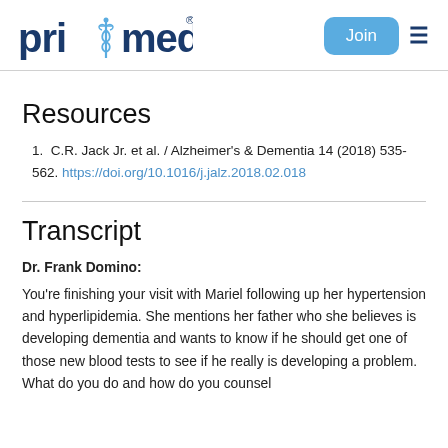pri*med — Join
Resources
1. C.R. Jack Jr. et al. / Alzheimer's & Dementia 14 (2018) 535-562. https://doi.org/10.1016/j.jalz.2018.02.018
Transcript
Dr. Frank Domino: You're finishing your visit with Mariel following up her hypertension and hyperlipidemia. She mentions her father who she believes is developing dementia and wants to know if he should get one of those new blood tests to see if he really is developing a problem. What do you do and how do you counsel